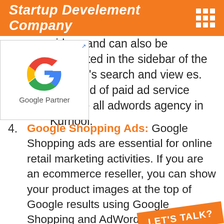Startup Develement Company
videos and can also be suggested in the sidebar of the website's search and view es. This kind of paid ad service also ide all adwords agency in Kurnool.
[Figure (logo): Google Partner logo with colorful G and text 'Google Partner']
Google Shopping Ads: Google Shopping ads are essential for online retail marketing activities. If you are an ecommerce reseller, you can show your product images at the top of Google results using Google Shopping and AdWords management in Kurnool.
Remarketing: We will help you set up, manage and optimize your